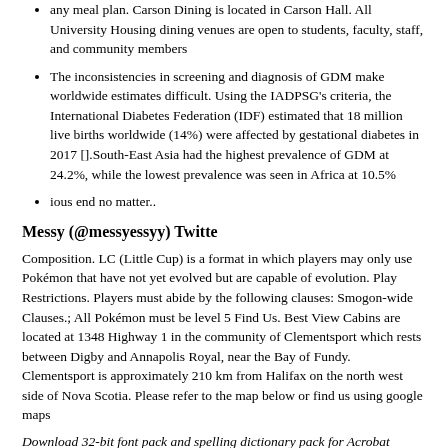any meal plan. Carson Dining is located in Carson Hall. All University Housing dining venues are open to students, faculty, staff, and community members
The inconsistencies in screening and diagnosis of GDM make worldwide estimates difficult. Using the IADPSG's criteria, the International Diabetes Federation (IDF) estimated that 18 million live births worldwide (14%) were affected by gestational diabetes in 2017 [].South-East Asia had the highest prevalence of GDM at 24.2%, while the lowest prevalence was seen in Africa at 10.5%
ious end no matter..
Messy (@messyessyy) Twitte
Composition. LC (Little Cup) is a format in which players may only use Pokémon that have not yet evolved but are capable of evolution. Play Restrictions. Players must abide by the following clauses: Smogon-wide Clauses.; All Pokémon must be level 5 Find Us. Best View Cabins are located at 1348 Highway 1 in the community of Clementsport which rests between Digby and Annapolis Royal, near the Bay of Fundy. Clementsport is approximately 210 km from Halifax on the north west side of Nova Scotia. Please refer to the map below or find us using google maps
Download 32-bit font pack and spelling dictionary pack for Acrobat Reader DC. Find the current product version by going to Help > About Adobe Acrobat Reader DC. The Acr...